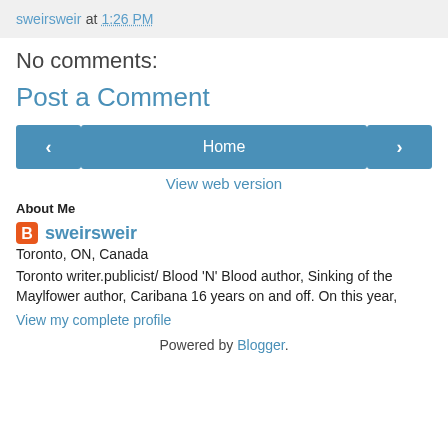sweirsweir at 1:26 PM
No comments:
Post a Comment
[Figure (other): Navigation buttons row with left arrow, Home button, and right arrow]
View web version
About Me
sweirsweir
Toronto, ON, Canada
Toronto writer.publicist/ Blood 'N' Blood author, Sinking of the Maylfower author, Caribana 16 years on and off. On this year,
View my complete profile
Powered by Blogger.